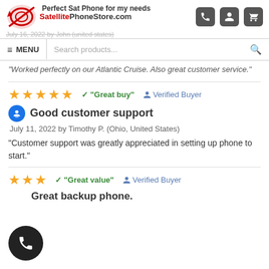Perfect Sat Phone for my needs | SatellitePhoneStore.com
"Worked perfectly on our Atlantic Cruise. Also great customer service."
★★★★★  ✓ "Great buy"  👤 Verified Buyer
Good customer support
July 11, 2022 by Timothy P. (Ohio, United States)
"Customer support was greatly appreciated in setting up phone to start."
★★★  ✓ "Great value"  👤 Verified Buyer
Great backup phone.